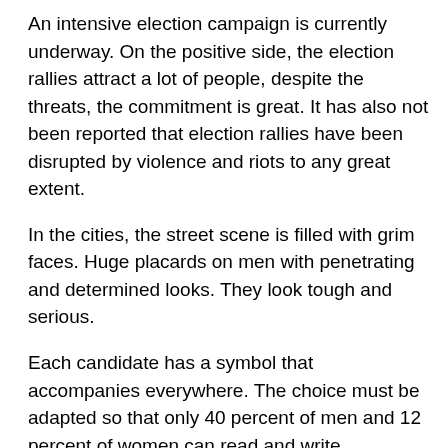An intensive election campaign is currently underway. On the positive side, the election rallies attract a lot of people, despite the threats, the commitment is great. It has also not been reported that election rallies have been disrupted by violence and riots to any great extent.
In the cities, the street scene is filled with grim faces. Huge placards on men with penetrating and determined looks. They look tough and serious.
Each candidate has a symbol that accompanies everywhere. The choice must be adapted so that only 40 percent of men and 12 percent of women can read and write. Therefore, each candidate has a symbol that accompanies everywhere.
From the beginning, there were eleven candidates. They have now been reduced to eight. But only three are main competitors with a realistic chance: